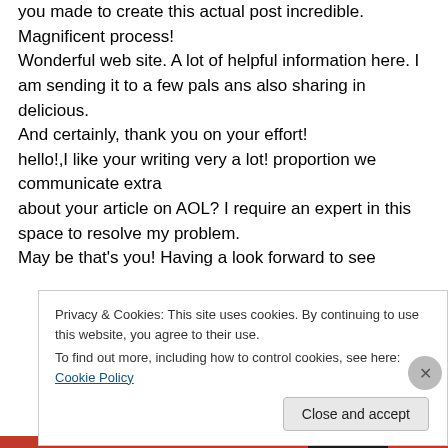you made to create this actual post incredible. Magnificent process! Wonderful web site. A lot of helpful information here. I am sending it to a few pals ans also sharing in delicious. And certainly, thank you on your effort! hello!,I like your writing very a lot! proportion we communicate extra about your article on AOL? I require an expert in this space to resolve my problem. May be that's you! Having a look forward to see
Privacy & Cookies: This site uses cookies. By continuing to use this website, you agree to their use.
To find out more, including how to control cookies, see here: Cookie Policy